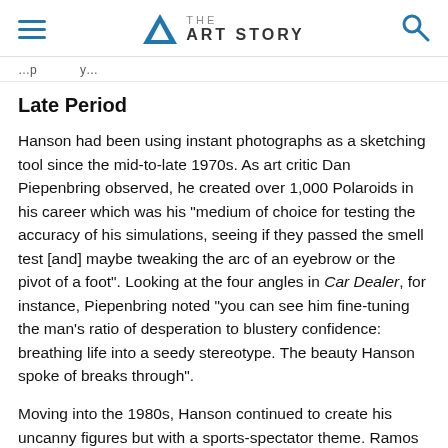THE ART STORY
[breadcrumb partial text]
Late Period
Hanson had been using instant photographs as a sketching tool since the mid-to-late 1970s. As art critic Dan Piepenbring observed, he created over 1,000 Polaroids in his career which was his "medium of choice for testing the accuracy of his simulations, seeing if they passed the smell test [and] maybe tweaking the arc of an eyebrow or the pivot of a foot". Looking at the four angles in Car Dealer, for instance, Piepenbring noted "you can see him fine-tuning the man's ratio of desperation to blustery confidence: breathing life into a seedy stereotype. The beauty Hanson spoke of breaks through".
Moving into the 1980s, Hanson continued to create his uncanny figures but with a sports-spectator theme. Ramos and others have compared these to waxwork figures but